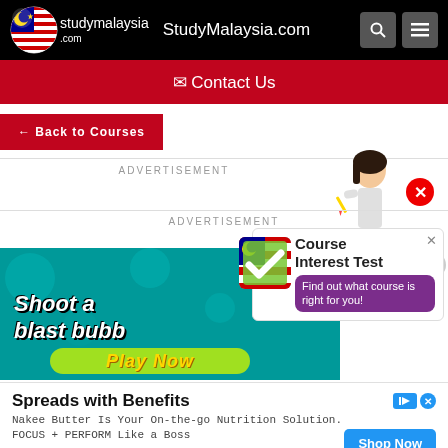StudyMalaysia.com
✉ Contact Us
← Back to Courses
ADVERTISEMENT
ADVERTISEMENT
[Figure (screenshot): Course Interest Test popup with a girl character, Malaysian flag checkmark logo, and text 'Course Interest Test - Find out what course is right for you!']
[Figure (screenshot): Game advertisement banner with teal background showing text 'Shoot at blast bubb' and 'Play Now' button]
Spreads with Benefits
Nakee Butter Is Your On-the-go Nutrition Solution. FOCUS + PERFORM Like a Boss
Nakee Butter
Shop Now